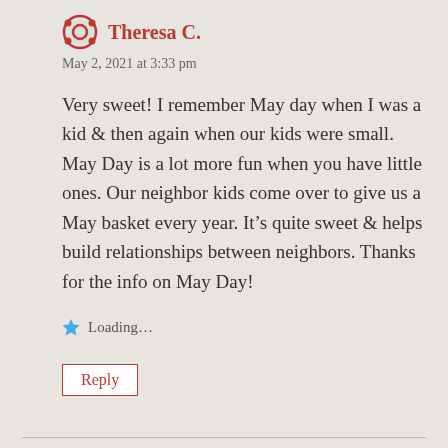Theresa C.
May 2, 2021 at 3:33 pm
Very sweet! I remember May day when I was a kid & then again when our kids were small. May Day is a lot more fun when you have little ones. Our neighbor kids come over to give us a May basket every year. It's quite sweet & helps build relationships between neighbors. Thanks for the info on May Day!
Loading...
Reply